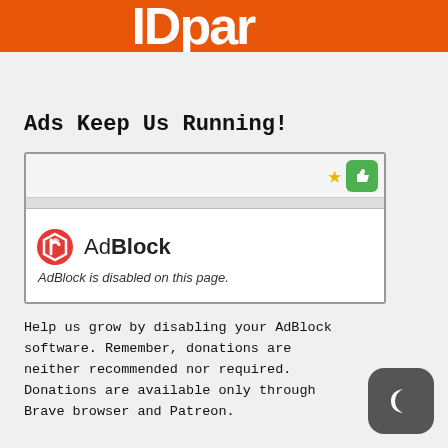[Figure (logo): IDParrot or similar site logo on orange background, partial text visible at top]
Ads Keep Us Running!
[Figure (screenshot): Browser screenshot showing AdBlock extension popup with 'AdBlock is disabled on this page.' message]
Help us grow by disabling your AdBlock software. Remember, donations are neither recommended nor required. Donations are available only through Brave browser and Patreon.
[Figure (logo): Dark mode toggle icon — dark gray rounded square with crescent moon symbol]